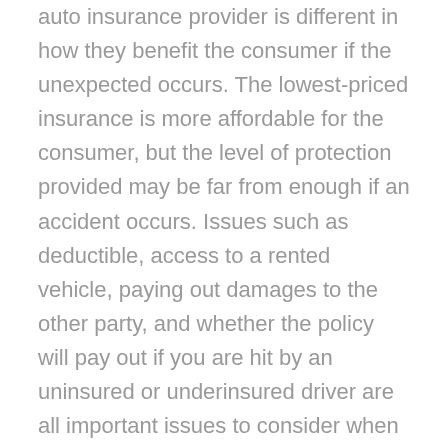auto insurance provider is different in how they benefit the consumer if the unexpected occurs. The lowest-priced insurance is more affordable for the consumer, but the level of protection provided may be far from enough if an accident occurs. Issues such as deductible, access to a rented vehicle, paying out damages to the other party, and whether the policy will pay out if you are hit by an uninsured or underinsured driver are all important issues to consider when purchasing auto insurance.
At Signorelli Insurance in St. Louis, Missouri, our local team works to find the best auto insurance policy for the individual client, from families to fleets. We understand the importance of keeping premium